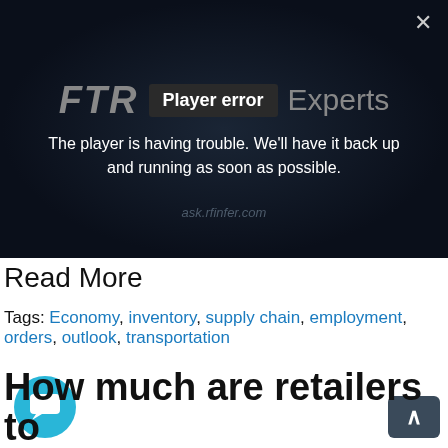[Figure (screenshot): Video player error screen with dark background. Shows FTR logo, 'Player error' badge, 'Experts' text, and error message: 'The player is having trouble. We'll have it back up and running as soon as possible.' A close X button is in the top right corner. Watermark 'ask.rfinfer.com' visible.]
Read More
Tags: Economy, inventory, supply chain, employment, orders, outlook, transportation
How much are retailers to